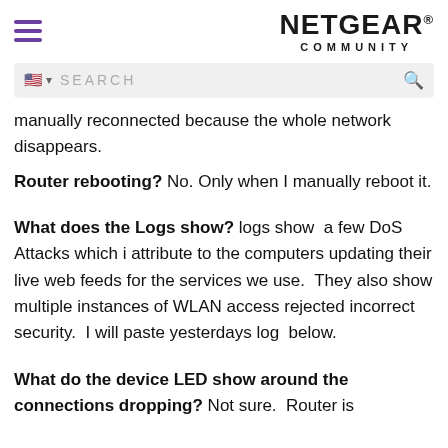NETGEAR COMMUNITY
[Figure (screenshot): Search bar with US flag icon and magnifying glass icon on grey background]
manually reconnected because the whole network disappears.
Router rebooting? No. Only when I manually reboot it.
What does the Logs show? logs show a few DoS Attacks which i attribute to the computers updating their live web feeds for the services we use. They also show multiple instances of WLAN access rejected incorrect security. I will paste yesterdays log below.
What do the device LED show around the connections dropping? Not sure. Router is